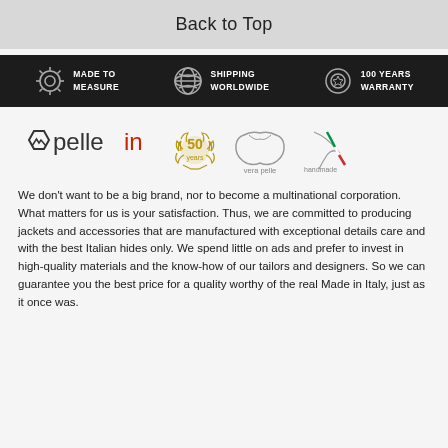Back to Top
[Figure (infographic): Dark banner with three feature icons and labels: gear icon with MADE TO MEASURE, interlocking circles icon with SHIPPING WORLDWIDE, badge/medal icon with 100 YEARS WARRANTY]
[Figure (logo): pellein brand logo with mountain hexagon icon, red 'in' suffix, 50 years golden wreath badge, vera pelle leather quality mark, handmade Italian flag badge]
We don't want to be a big brand, nor to become a multinational corporation. What matters for us is your satisfaction. Thus, we are committed to producing jackets and accessories that are manufactured with exceptional details care and with the best Italian hides only. We spend little on ads and prefer to invest in high-quality materials and the know-how of our tailors and designers. So we can guarantee you the best price for a quality worthy of the real Made in Italy, just as it once was.